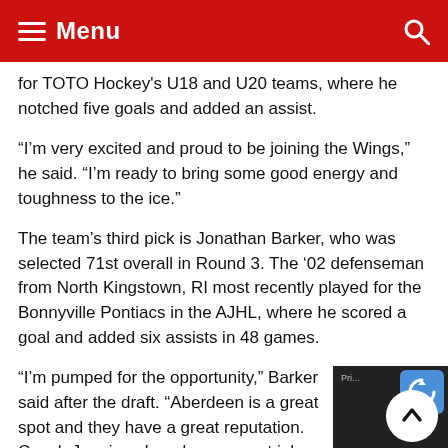Menu
for TOTO Hockey's U18 and U20 teams, where he notched five goals and added an assist.
“I’m very excited and proud to be joining the Wings,” he said. “I’m ready to bring some good energy and toughness to the ice.”
The team’s third pick is Jonathan Barker, who was selected 71st overall in Round 3. The ‘02 defenseman from North Kingstown, RI most recently played for the Bonnyville Pontiacs in the AJHL, where he scored a goal and added six assists in 48 games.
“I’m pumped for the opportunity,” Barker said after the draft. “Aberdeen is a great spot and they have a great reputation. Coach Jennings has done a great job past with placing players and I’m really excited to with him and Coach Stepan.”